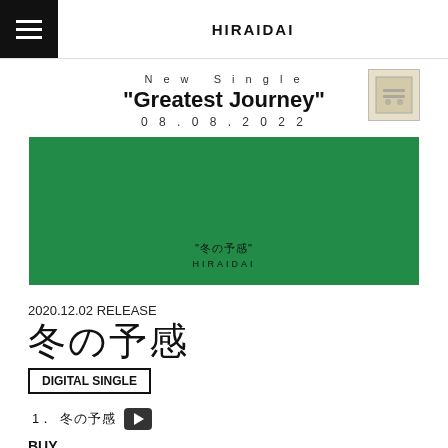HIRAIDAI
New Single
"Greatest Journey"
08.08.2022
[Figure (photo): Green album cover for '冬の予感' by HIRAIDAI with dark green background and small centered Japanese text]
2020.12.02 RELEASE
冬の予感
DIGITAL SINGLE
1. 冬の予感
BUY